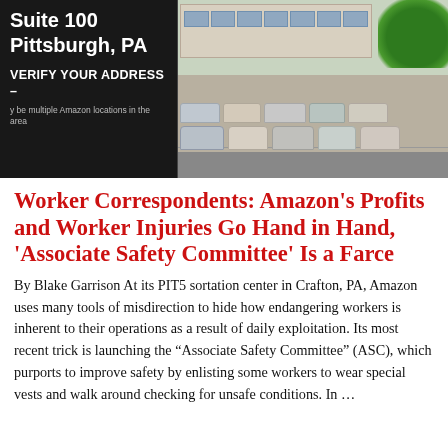[Figure (photo): Photo of an Amazon facility parking lot in Crafton/Pittsburgh PA. On the left is a dark sign reading 'Suite 100 Pittsburgh, PA' and 'VERIFY YOUR ADDRESS -- y be multiple Amazon locations in the area'. On the right is a parking lot with multiple cars and a commercial building in the background with green trees.]
Worker Correspondents: Amazon's Profits and Worker Injuries Go Hand in Hand, 'Associate Safety Committee' Is a Farce
By Blake Garrison At its PIT5 sortation center in Crafton, PA, Amazon uses many tools of misdirection to hide how endangering workers is inherent to their operations as a result of daily exploitation. Its most recent trick is launching the “Associate Safety Committee” (ASC), which purports to improve safety by enlisting some workers to wear special vests and walk around checking for unsafe conditions. In …